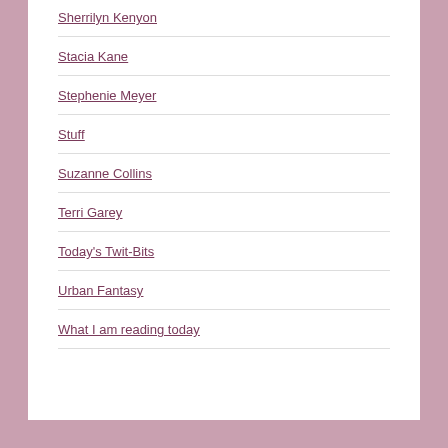Sherrilyn Kenyon
Stacia Kane
Stephenie Meyer
Stuff
Suzanne Collins
Terri Garey
Today's Twit-Bits
Urban Fantasy
What I am reading today